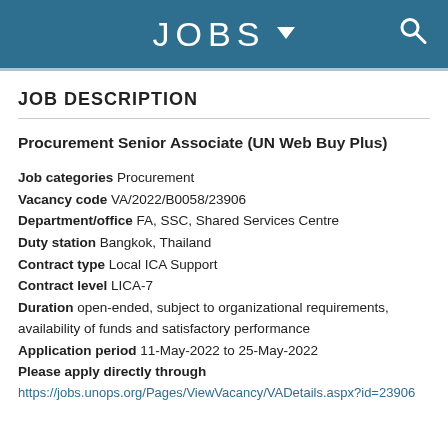JOBS
JOB DESCRIPTION
Procurement Senior Associate (UN Web Buy Plus)
Job categories Procurement
Vacancy code VA/2022/B0058/23906
Department/office FA, SSC, Shared Services Centre
Duty station Bangkok, Thailand
Contract type Local ICA Support
Contract level LICA-7
Duration open-ended, subject to organizational requirements, availability of funds and satisfactory performance
Application period 11-May-2022 to 25-May-2022
Please apply directly through
https://jobs.unops.org/Pages/ViewVacancy/VADetails.aspx?id=23906